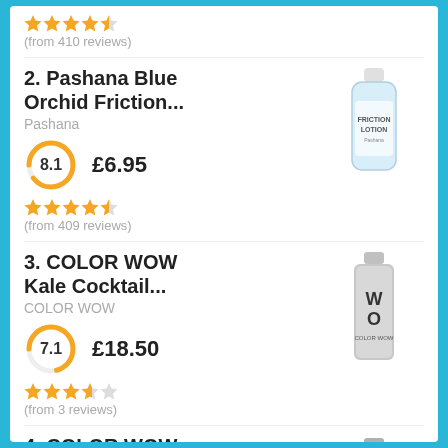(from 410 reviews)
2. Pashana Blue Orchid Friction...
Pashana
8.1   £6.95
(from 409 reviews)
[Figure (photo): Pashana Blue Orchid Friction Lotion bottle]
3. COLOR WOW Kale Cocktail...
COLOR WOW
7.1   £18.50
(from 3 reviews)
[Figure (photo): COLOR WOW Kale Cocktail bottle]
4. COLOR WOW Coconut Cockta...
COLOR WOW
[Figure (photo): COLOR WOW Coconut Cocktail bottle]